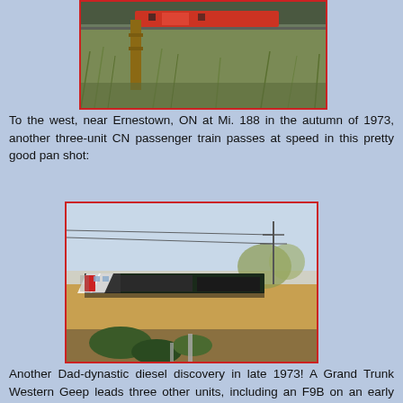[Figure (photo): A CN passenger train viewed from a low angle near trackside vegetation, autumn scene with a wooden post in foreground]
To the west, near Ernestown, ON at Mi. 188 in the autumn of 1973, another three-unit CN passenger train passes at speed in this pretty good pan shot:
[Figure (photo): Pan shot of a three-unit CN passenger train passing at speed near Ernestown, ON, autumn 1973, with power lines visible in background]
Another Dad-dynastic diesel discovery in late 1973! A Grand Trunk Western Geep leads three other units, including an F9B on an early morning hot piggyback train. Perhaps this